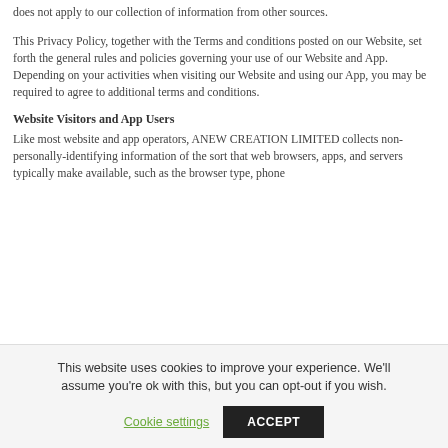does not apply to our collection of information from other sources.
This Privacy Policy, together with the Terms and conditions posted on our Website, set forth the general rules and policies governing your use of our Website and App. Depending on your activities when visiting our Website and using our App, you may be required to agree to additional terms and conditions.
Website Visitors and App Users
Like most website and app operators, ANEW CREATION LIMITED collects non-personally-identifying information of the sort that web browsers, apps, and servers typically make available, such as the browser type, phone
This website uses cookies to improve your experience. We'll assume you're ok with this, but you can opt-out if you wish.
Cookie settings
ACCEPT